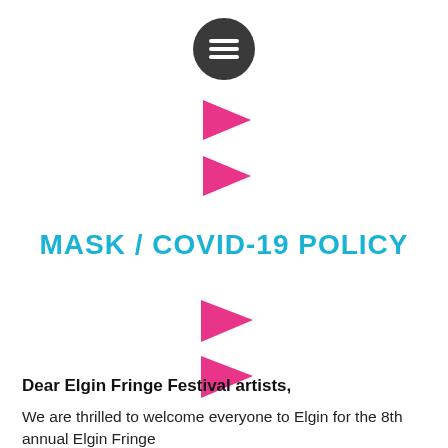[Figure (logo): Dark gray circular hamburger menu button icon with three white horizontal lines]
[Figure (illustration): Two pink/magenta rightward-pointing triangular arrow shapes stacked vertically]
MASK / COVID-19 POLICY
[Figure (illustration): Two pink/magenta rightward-pointing triangular arrow shapes stacked vertically]
Dear Elgin Fringe Festival artists,
We are thrilled to welcome everyone to Elgin for the 8th annual Elgin Fringe